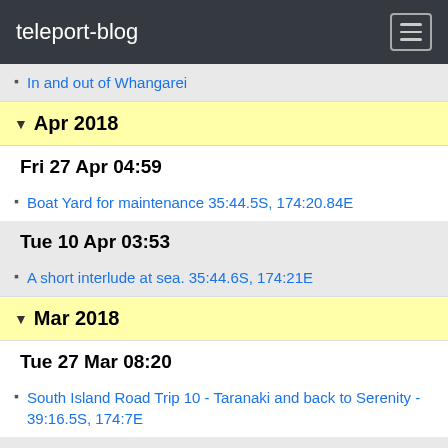teleport-blog
In and out of Whangarei
Apr 2018
Fri 27 Apr 04:59
Boat Yard for maintenance 35:44.5S, 174:20.84E
Tue 10 Apr 03:53
A short interlude at sea. 35:44.6S, 174:21E
Mar 2018
Tue 27 Mar 08:20
South Island Road Trip 10 - Taranaki and back to Serenity - 39:16.5S, 174:7E
Wed 21 Mar 17:15
SIRT 9 Hanmer Springs and Kaikoura 42:21.7S, 173:42.3E
Tue 20 Mar 19:44
SIRT 8 - Christchurch and the Banks Peninsula 43:31.8S, 172:24.5E